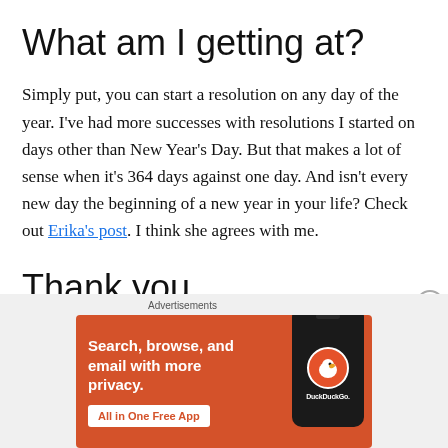What am I getting at?
Simply put, you can start a resolution on any day of the year. I've had more successes with resolutions I started on days other than New Year's Day. But that makes a lot of sense when it's 364 days against one day. And isn't every new day the beginning of a new year in your life? Check out Erika's post. I think she agrees with me.
Thank you.
[Figure (infographic): DuckDuckGo advertisement banner with orange background showing 'Search, browse, and email with more privacy. All in One Free App' with a phone image and DuckDuckGo logo.]